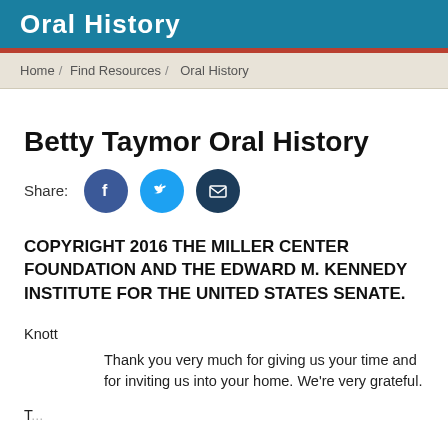Oral History
Home / Find Resources / Oral History
Betty Taymor Oral History
[Figure (infographic): Share buttons: Facebook (blue circle with f icon), Twitter (light blue circle with bird icon), Email (dark blue circle with envelope icon)]
COPYRIGHT 2016 THE MILLER CENTER FOUNDATION AND THE EDWARD M. KENNEDY INSTITUTE FOR THE UNITED STATES SENATE.
Knott
	Thank you very much for giving us your time and for inviting us into your home. We’re very grateful.
T...